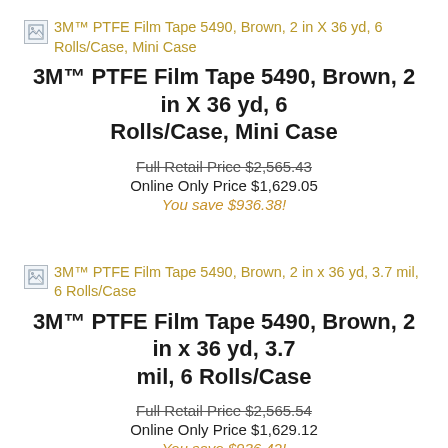[Figure (illustration): Small broken image icon placeholder]
3M™ PTFE Film Tape 5490, Brown, 2 in X 36 yd, 6 Rolls/Case, Mini Case
3M™ PTFE Film Tape 5490, Brown, 2 in X 36 yd, 6 Rolls/Case, Mini Case
Full Retail Price $2,565.43
Online Only Price $1,629.05
You save $936.38!
[Figure (illustration): Small broken image icon placeholder]
3M™ PTFE Film Tape 5490, Brown, 2 in x 36 yd, 3.7 mil, 6 Rolls/Case
3M™ PTFE Film Tape 5490, Brown, 2 in x 36 yd, 3.7 mil, 6 Rolls/Case
Full Retail Price $2,565.54
Online Only Price $1,629.12
You save $936.42!